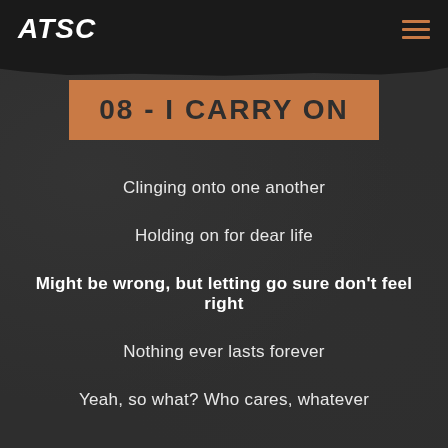ATSC
08 - I CARRY ON
Clinging onto one another
Holding on for dear life
Might be wrong, but letting go sure don't feel right
Nothing ever lasts forever
Yeah, so what? Who cares, whatever